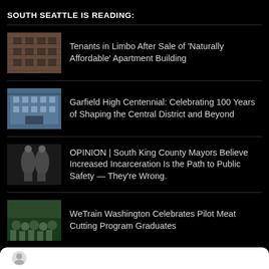SOUTH SEATTLE IS READING:
Tenants in Limbo After Sale of ‘Naturally Affordable’ Apartment Building
Garfield High Centennial: Celebrating 100 Years of Shaping the Central District and Beyond
OPINION | South King County Mayors Believe Increased Incarceration Is the Path to Public Safety — They’re Wrong.
WeTrain Washington Celebrates Pilot Meat Cutting Program Graduates
Indigenous Press YOLTEOTL Opens in September